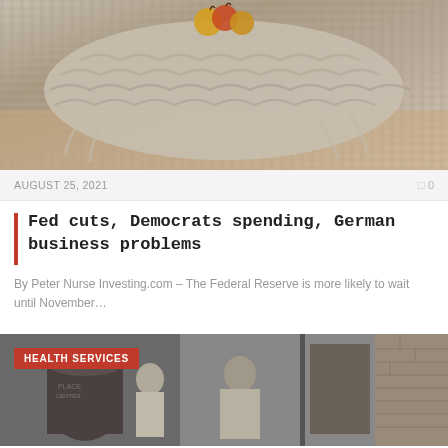[Figure (photo): Knitted textile with apples on a wooden surface, neutral tones]
AUGUST 25, 2021
0
Fed cuts, Democrats spending, German business problems
By Peter Nurse Investing.com – The Federal Reserve is more likely to wait until November…
[Figure (photo): Black and white historical photograph of people standing outside a building, with a HEALTH SERVICES label overlay]